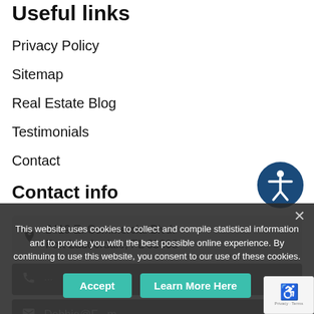Useful links
Privacy Policy
Sitemap
Real Estate Blog
Testimonials
Contact
Contact info
2419 E. Commercial Blvd.
Fort Lauderdale, FL 33308
This website uses cookies to collect and compile statistical information and to provide you with the best possible online experience. By continuing to use this website, you consent to our use of these cookies.